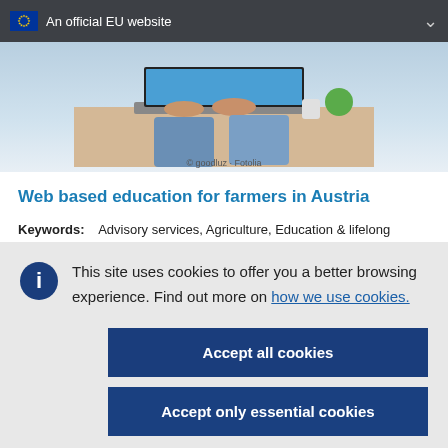An official EU website
[Figure (photo): Person typing on a laptop, viewed from above, with a plant and coffee cup visible. Photo credit: © goodluz - Fotolia]
© goodluz · Fotolia
Web based education for farmers in Austria
Keywords:    Advisory services, Agriculture, Education & lifelong learning, Environmental protection, Farm
This site uses cookies to offer you a better browsing experience. Find out more on how we use cookies.
Accept all cookies
Accept only essential cookies